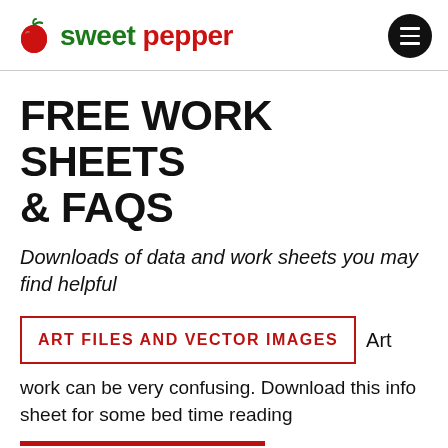sweet pepper
FREE WORK SHEETS & FAQS
Downloads of data and work sheets you may find helpful
ART FILES AND VECTOR IMAGES
Art work can be very confusing. Download this info sheet for some bed time reading